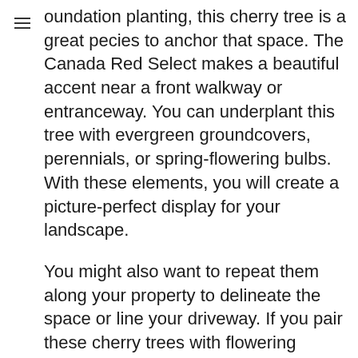oundation planting, this cherry tree is a great pecies to anchor that space. The Canada Red Select makes a beautiful accent near a front walkway or entranceway. You can underplant this tree with evergreen groundcovers, perennials, or spring-flowering bulbs. With these elements, you will create a picture-perfect display for your landscape.
You might also want to repeat them along your property to delineate the space or line your driveway. If you pair these cherry trees with flowering crabapples, you are guaranteed to have a spectacular spring showing of fruit and blooms. Throughout your landscape, the Canada Red Select will become your favorite tree in those mixed borders or patio plantings. You should think about adding them to